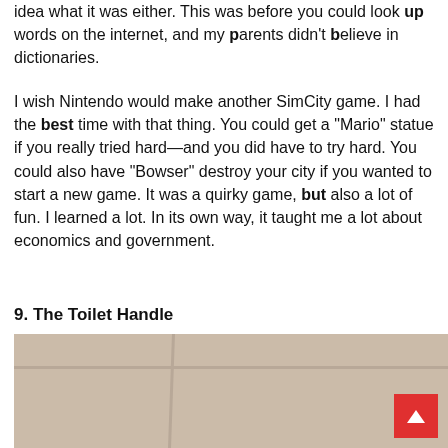idea what it was either. This was before you could look up words on the internet, and my parents didn't believe in dictionaries.
I wish Nintendo would make another SimCity game. I had the best time with that thing. You could get a "Mario" statue if you really tried hard—and you did have to try hard. You could also have "Bowser" destroy your city if you wanted to start a new game. It was a quirky game, but also a lot of fun. I learned a lot. In its own way, it taught me a lot about economics and government.
9. The Toilet Handle
[Figure (photo): Photo of a toilet tank lid or wall tiles in beige/tan color with visible seams/grout lines]